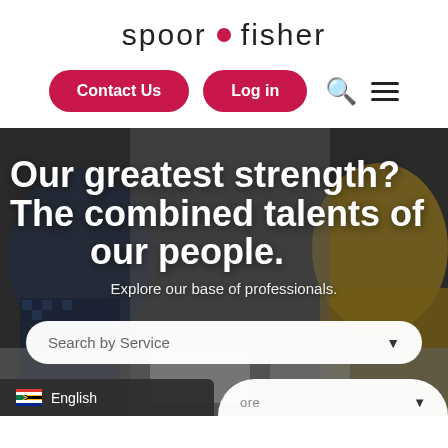[Figure (logo): Spoor Fisher logo — 'spoor • fisher' in light sans-serif with red dot between words]
[Figure (screenshot): Navigation buttons: 'Contact Us' and 'Log in' pills in crimson red, plus search and hamburger menu icons]
[Figure (photo): Hero image showing people working together at a table, dark overlay with large white bold text 'Our greatest strength? The combined talents of our people.' and subtitle 'Explore our base of professionals.' with a search dropdown bar and language selector showing South African flag and English]
Our greatest strength? The combined talents of our people.
Explore our base of professionals.
Search by Service
English